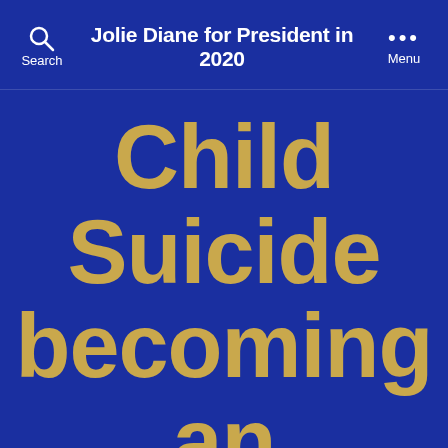Jolie Diane for President in 2020
Child Suicide becoming an